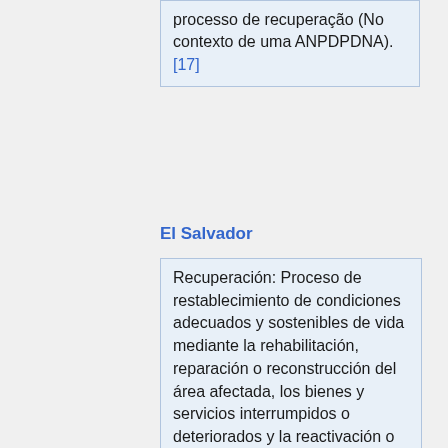processo de recuperação (No contexto de uma ANPDPDNA). [17]
El Salvador
Recuperación: Proceso de restablecimiento de condiciones adecuados y sostenibles de vida mediante la rehabilitación, reparación o reconstrucción del área afectada, los bienes y servicios interrumpidos o deteriorados y la reactivación o impulso del desarrollo económico y social de la